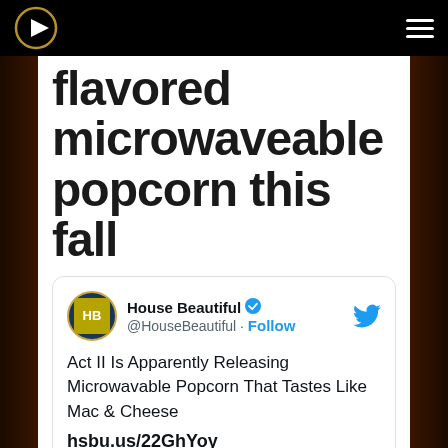House Beautiful — navigation bar
flavored microwaveable popcorn this fall
[Figure (screenshot): Embedded tweet from @HouseBeautiful about Act II Microwavable Popcorn that tastes Like Mac & Cheese, dated 10:57 PM · Feb 26, 2021, with 6 likes, Reply, and Copy link actions.]